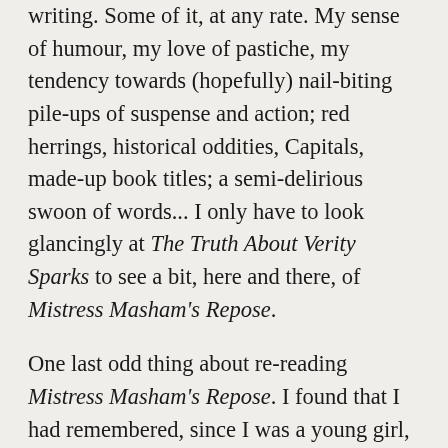writing. Some of it, at any rate. My sense of humour, my love of pastiche, my tendency towards (hopefully) nail-biting pile-ups of suspense and action; red herrings, historical oddities, Capitals, made-up book titles; a semi-delirious swoon of words... I only have to look glancingly at The Truth About Verity Sparks to see a bit, here and there, of Mistress Masham's Repose.
One last odd thing about re-reading Mistress Masham's Repose. I found that I had remembered, since I was a young girl, a particular phrase from the book. Maria, pretending to be a pirate, has paddled her boat out to an island in the middle of an ornamental lake. 'She boarded the tree bole, brandishing her cutlass, and swarmed ashore with the battle cry of a Maria, her spectacles twinkling fiercely in the sun.'
How I love that. How I loved re-reading that. It's a kind